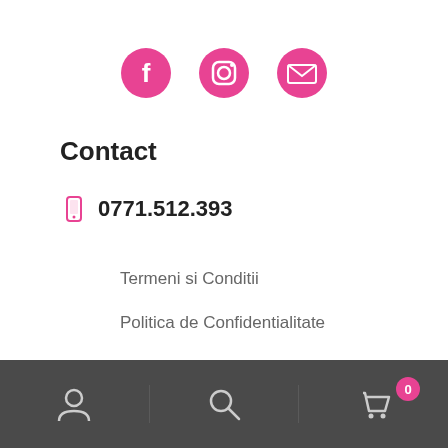[Figure (other): Social media icons row: Facebook circle icon (pink), Instagram circle icon (pink), Email envelope icon (pink)]
Contact
0771.512.393
Termeni si Conditii
Politica de Confidentialitate
GDPR
ANPC
Bottom navigation bar with user icon, search icon, and cart icon with badge 0